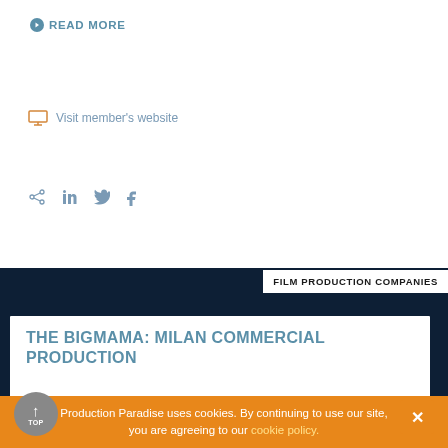READ MORE
Visit member's website
Share icons: share, linkedin, twitter, facebook
FILM PRODUCTION COMPANIES
THE BIGMAMA: MILAN COMMERCIAL PRODUCTION
[Figure (photo): Close-up of a young man with curly dark hair, eyes closed, with a play button overlay indicating a video]
Production Paradise uses cookies. By continuing to use our site, you are agreeing to our cookie policy.